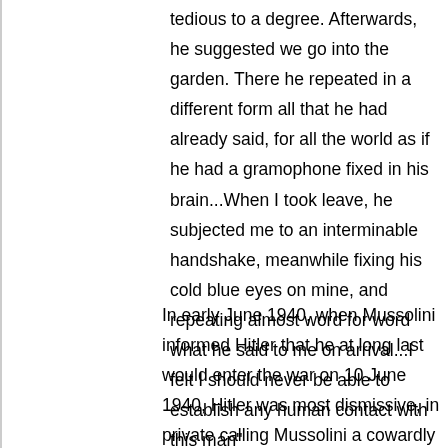tedious to a degree. Afterwards, he suggested we go into the garden. There he repeated in a different form all that he had already said, for all the world as if he had a gramophone fixed in his brain...When I took leave, he subjected me to an interminable handshake, meanwhile fixing his cold blue eyes on mine, and repeating almost word for word what he said to me on arrival...I felt I should never be able to establish any human contact with this man"
In early June 1940, when Mussolini informed Hitler that he at long last would enter the war on 10 June 1940, Hitler was most dismissive, in private calling Mussolini a cowardly opportunist who broke the